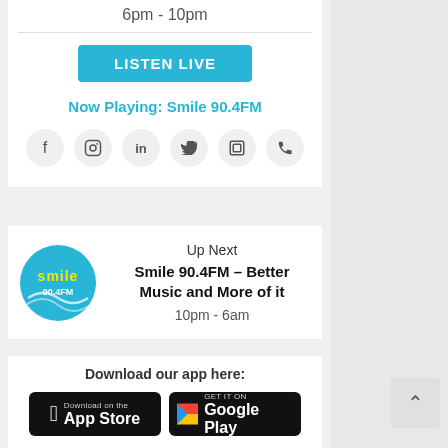6pm - 10pm
LISTEN LIVE
Now Playing: Smile 90.4FM
[Figure (infographic): Social media icons: Facebook, Instagram, LinkedIn, Twitter, a device icon, and a phone icon, each in a light grey circle]
[Figure (logo): Smile 90.4FM circular logo — blue circle with yellow 'smile' text and '90.4FM' in white]
Up Next
Smile 90.4FM – Better Music and More of it
10pm - 6am
Download our app here:
[Figure (infographic): Download on the App Store badge (black)]
[Figure (infographic): Get it on Google Play badge (black)]